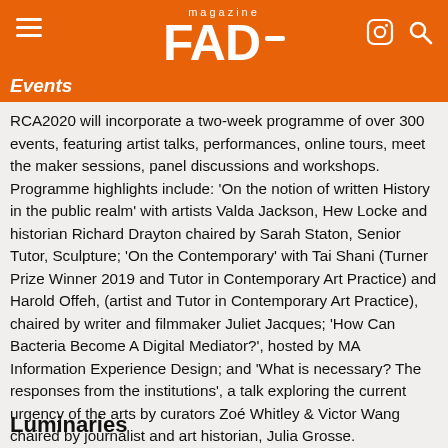FAD magazine
Events
RCA2020 will incorporate a two-week programme of over 300 events, featuring artist talks, performances, online tours, meet the maker sessions, panel discussions and workshops. Programme highlights include: ‘On the notion of written History in the public realm’ with artists Valda Jackson, Hew Locke and historian Richard Drayton chaired by Sarah Staton, Senior Tutor, Sculpture; ‘On the Contemporary’ with Tai Shani (Turner Prize Winner 2019 and Tutor in Contemporary Art Practice) and Harold Offeh, (artist and Tutor in Contemporary Art Practice), chaired by writer and filmmaker Juliet Jacques; ‘How Can Bacteria Become A Digital Mediator?’, hosted by MA Information Experience Design; and ‘What is necessary? The responses from the institutions’, a talk exploring the current urgency of the arts by curators Zoé Whitley & Victor Wang chaired by journalist and art historian, Julia Grosse.
Luminaries